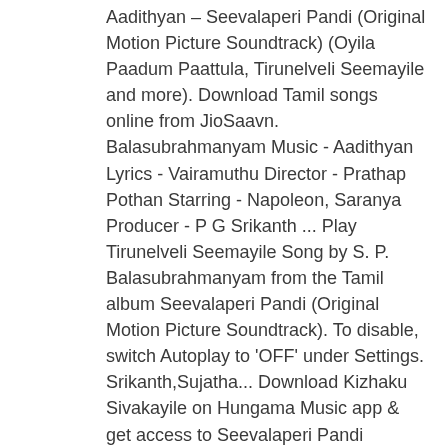Aadithyan – Seevalaperi Pandi (Original Motion Picture Soundtrack) (Oyila Paadum Paattula, Tirunelveli Seemayile and more). Download Tamil songs online from JioSaavn. Balasubrahmanyam Music - Aadithyan Lyrics - Vairamuthu Director - Prathap Pothan Starring - Napoleon, Saranya Producer - P G Srikanth ... Play Tirunelveli Seemayile Song by S. P. Balasubrahmanyam from the Tamil album Seevalaperi Pandi (Original Motion Picture Soundtrack). To disable, switch Autoplay to 'OFF' under Settings. Srikanth,Sujatha... Download Kizhaku Sivakayile on Hungama Music app & get access to Seevalaperi Pandi unlimited free songs, free movies, latest music videos, online radio, new TV shows and much more at Hungama. Seevalaperi